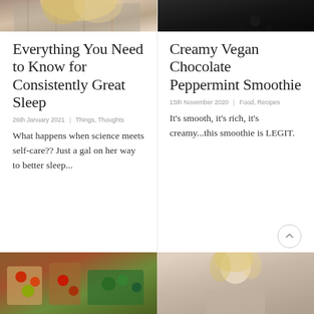[Figure (photo): Top portion of a woman with blonde hair in plaid shirt, cropped]
[Figure (photo): Dark moody top-down photo, possibly shoes or dark objects on dark surface]
Everything You Need to Know for Consistently Great Sleep
26th January 2021  |  Things, Thoughts
What happens when science meets self-care?? Just a gal on her way to better sleep...
Creamy Vegan Chocolate Peppermint Smoothie
15th November 2020  |  Food, Recipes
It's smooth, it's rich, it's creamy...this smoothie is LEGIT.
[Figure (photo): Grocery bags with fruits and vegetables on a wooden surface]
[Figure (photo): Blonde woman looking at camera, resting head on hand, neutral background]